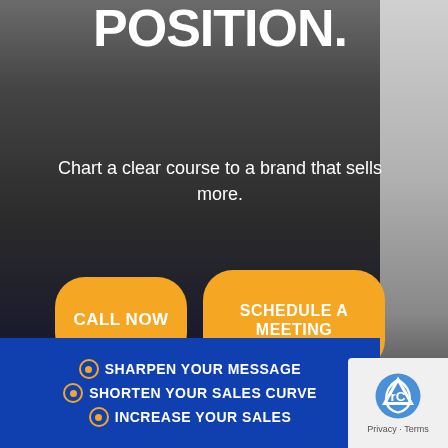POSITION.
Chart a clear course to a brand that sells more.
CALL NOW
SCHEDULE A MEETING
SHARPEN YOUR MESSAGE
SHORTEN YOUR SALES CURVE
INCREASE YOUR SALES